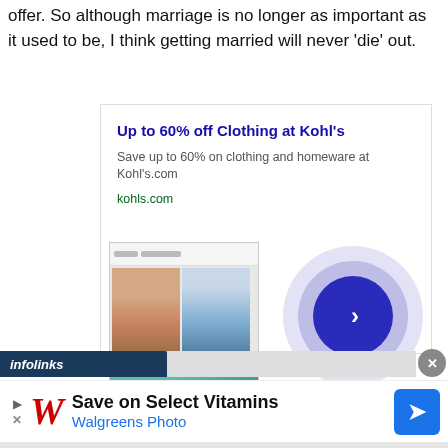offer. So although marriage is no longer as important as it used to be, I think getting married will never 'die' out.
[Figure (screenshot): Advertisement for Kohl's clothing with title 'Up to 60% off Clothing at Kohl's', description text, kohls.com URL, thumbnail of Kohl's website showing two people in clothing, and a play button circle graphic. Infolinks bar at bottom.]
[Figure (screenshot): Walgreens Photo advertisement banner: 'Save on Select Vitamins / Walgreens Photo' with Walgreens red italic W logo and blue navigation arrow icon.]